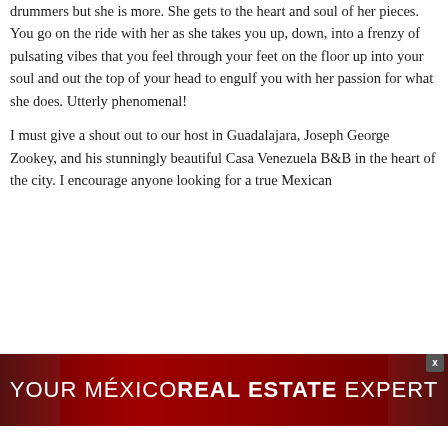drummers but she is more. She gets to the heart and soul of her pieces. You go on the ride with her as she takes you up, down, into a frenzy of pulsating vibes that you feel through your feet on the floor up into your soul and out the top of your head to engulf you with her passion for what she does. Utterly phenomenal!

I must give a shout out to our host in Guadalajara, Joseph George Zookey, and his stunningly beautiful Casa Venezuela B&B in the heart of the city. I encourage anyone looking for a true Mexican
[Figure (infographic): Advertisement banner: red background with group of people visible on sides, white text reading YOUR MÉXICO REAL ESTATE EXPERT with REAL ESTATE in bold]